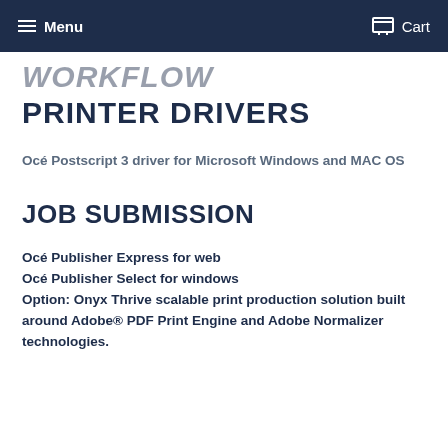Menu  Cart
WORKFLOW
PRINTER DRIVERS
Océ Postscript 3 driver for Microsoft Windows and MAC OS
JOB SUBMISSION
Océ Publisher Express for web
Océ Publisher Select for windows
Option: Onyx Thrive scalable print production solution built around Adobe® PDF Print Engine and Adobe Normalizer technologies.